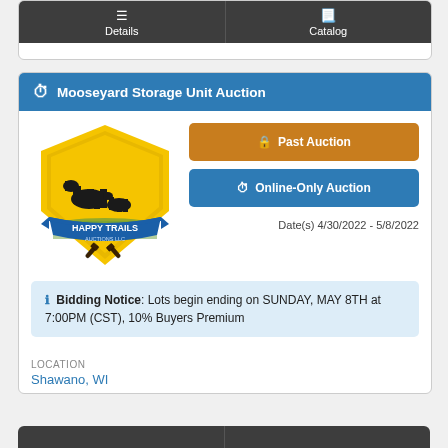[Figure (screenshot): Top navigation card with Details and Catalog buttons on dark background]
Mooseyard Storage Unit Auction
[Figure (logo): Happy Trails Auctions LLC logo — yellow shield with horse silhouettes, blue ribbon, crossed gavels]
Past Auction
Online-Only Auction
Date(s) 4/30/2022 - 5/8/2022
Bidding Notice: Lots begin ending on SUNDAY, MAY 8TH at 7:00PM (CST), 10% Buyers Premium
LOCATION
Shawano, WI